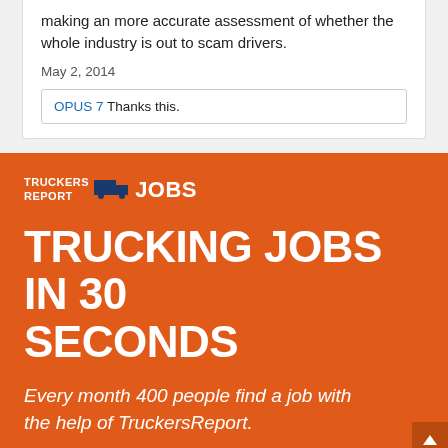making an more accurate assessment of whether the whole industry is out to scam drivers.
May 2, 2014
OPUS 7 Thanks this.
[Figure (infographic): TruckersReport Jobs advertisement banner with orange background. Contains logo 'TRUCKERS REPORT JOBS', headline 'TRUCKING JOBS IN 30 SECONDS', subtext 'Every month 400 people find a job with the help of TruckersReport.', a ZIP label, and a Zip input field.]